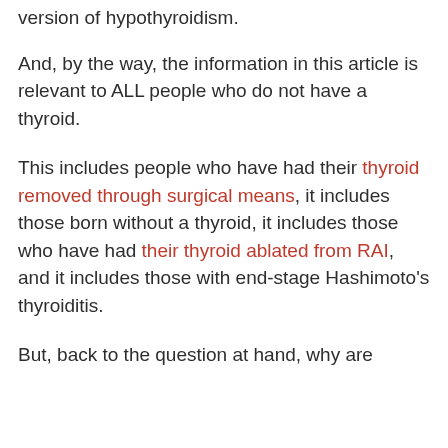version of hypothyroidism.
And, by the way, the information in this article is relevant to ALL people who do not have a thyroid.
This includes people who have had their thyroid removed through surgical means, it includes those born without a thyroid, it includes those who have had their thyroid ablated from RAI, and it includes those with end-stage Hashimoto's thyroiditis.
But, back to the question at hand, why are